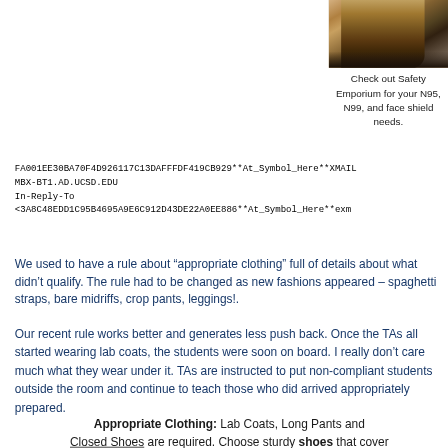[Figure (photo): Partial photo of a person with blonde hair against a dark background, cropped to top-right corner of page]
Check out Safety Emporium for your N95, N99, and face shield needs.
FA001EE30BA70F4D926117C13DAFFFDF419CB929**At_Symbol_Here**XMAILMBX-BT1.AD.UCSD.EDU
In-Reply-To
<3A8C48EDD1C95B4695A9E6C912D43DE22A0EE886**At_Symbol_Here**exm
We used to have a rule about “appropriate clothing” full of details about what didn’t qualify. The rule had to be changed as new fashions appeared – spaghetti straps, bare midriffs, crop pants, leggings!.
Our recent rule works better and generates less push back. Once the TAs all started wearing lab coats, the students were soon on board. I really don’t care much what they wear under it. TAs are instructed to put non-compliant students outside the room and continue to teach those who did arrived appropriately prepared.
Appropriate Clothing: Lab Coats, Long Pants and Closed Shoes are required. Choose sturdy shoes that cover...